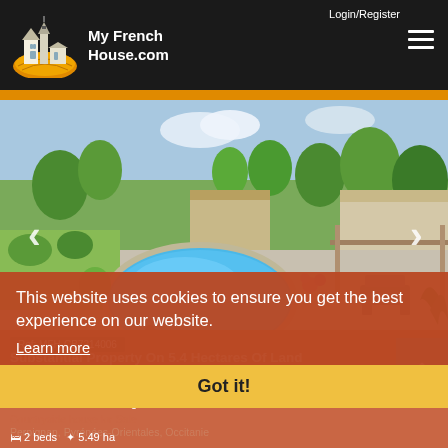Login/Register
[Figure (logo): My French House.com logo with church/building illustration and orange sun graphic]
[Figure (photo): Outdoor pool with landscaped garden, terrace seating, and buildings in background]
Ref: MFH-CB7214006
Substantial Property On 5.4 Hectares Of Land
Pyrénées-Orientales
€398,000 incl. estate agent's fee
Countryside house for Sale
Perpignan, Pyrénées-Orientales, Occitanie
2 beds  5.49 ha
This website uses cookies to ensure you get the best experience on our website.
Learn more
Got it!